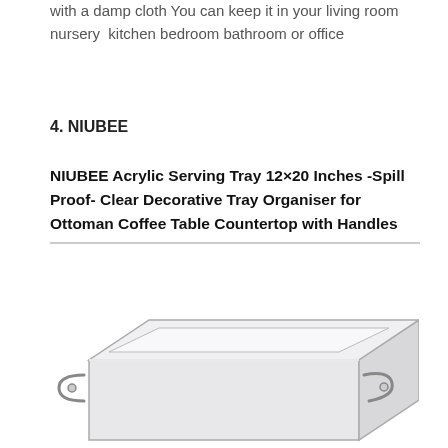with a damp cloth You can keep it in your living room nursery  kitchen bedroom bathroom or office
4. NIUBEE
NIUBEE Acrylic Serving Tray 12×20 Inches -Spill Proof- Clear Decorative Tray Organiser for Ottoman Coffee Table Countertop with Handles
[Figure (photo): Photo of a clear acrylic serving tray with handles, viewed from a slight angle, showing its transparent rectangular form.]